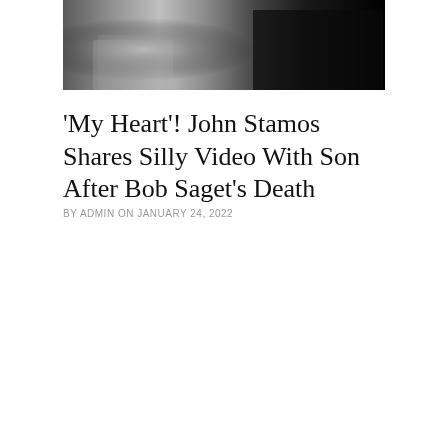[Figure (photo): Black and white photo of two people, one wearing a plaid/houndstooth jacket on the left, the other in dark clothing on the right against a dark background]
'My Heart'! John Stamos Shares Silly Video With Son After Bob Saget's Death
BY ADMIN ON JANUARY 24, 2022